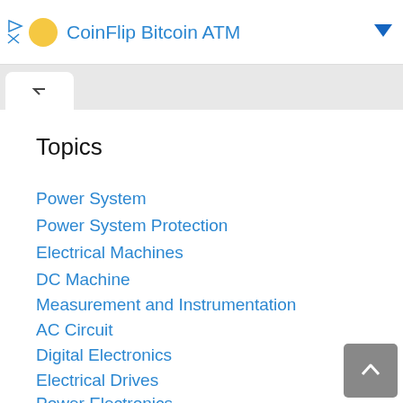CoinFlip Bitcoin ATM
Topics
Power System
Power System Protection
Electrical Machines
DC Machine
Measurement and Instrumentation
AC Circuit
Digital Electronics
Electrical Drives
Power Electronics